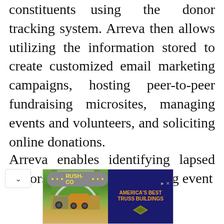constituents using the donor tracking system. Arreva then allows utilizing the information stored to create customized email marketing campaigns, hosting peer-to-peer fundraising microsites, managing events and volunteers, and soliciting online donations.
Arreva enables identifying lapsed donors quickly and generating event
[Figure (photo): Advertisement for Rush-Co truss buildings showing a metal arch building with tractors in front, and orange text reading AMERICA'S BEST TRUSS BUILDINGS on a dark blue background with a diamond logo]